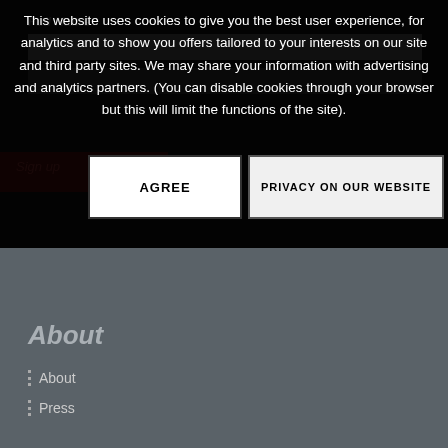This website uses cookies to give you the best user experience, for analytics and to show you offers tailored to your interests on our site and third party sites. We may share your information with advertising and analytics partners. (You can disable cookies through your browser but this will limit the functions of the site).
AGREE
PRIVACY ON OUR WEBSITE
About
About
Press